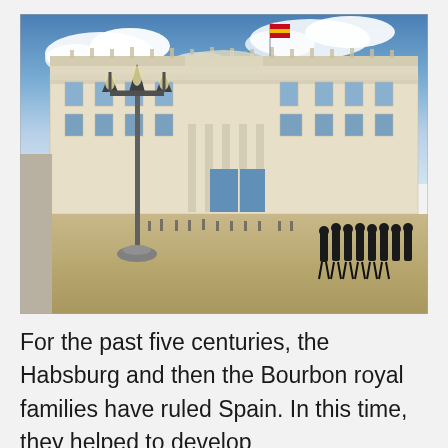[Figure (photo): Photograph of the Royal Palace of Madrid (Palacio Real) with ornate baroque facade, Spanish flag flying from the rooftop, an elaborate multi-lantern lamppost in the foreground left, and a group of soldiers in dark ceremonial uniforms marching in formation on the plaza in the lower right.]
For the past five centuries, the Habsburg and then the Bourbon royal families have ruled Spain. In this time, they helped to develop